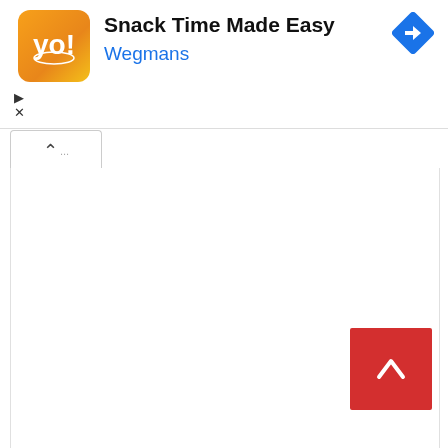[Figure (screenshot): Ad banner with Wegmans logo, title 'Snack Time Made Easy', brand name 'Wegmans' in blue, navigation icon top right, play and close controls bottom left of banner]
[Figure (screenshot): Collapse/accordion tab with upward chevron arrow, white background with border]
[Figure (screenshot): Red scroll-to-top button with white upward chevron arrow, positioned bottom right of page content area]